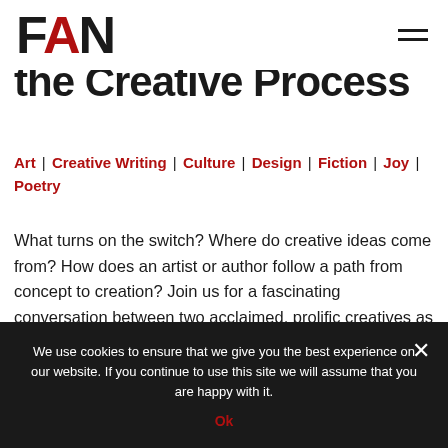FAN
the Creative Process
Art | Creative Writing | Culture | Design | Fiction | Joy | Poetry
What turns on the switch? Where do creative ideas come from? How does an artist or author follow a path from concept to creation? Join us for a fascinating conversation between two acclaimed, prolific creatives as they explore making, the art of craft, and how the spark of inspiration evolves over time.
We use cookies to ensure that we give you the best experience on our website. If you continue to use this site we will assume that you are happy with it. Ok